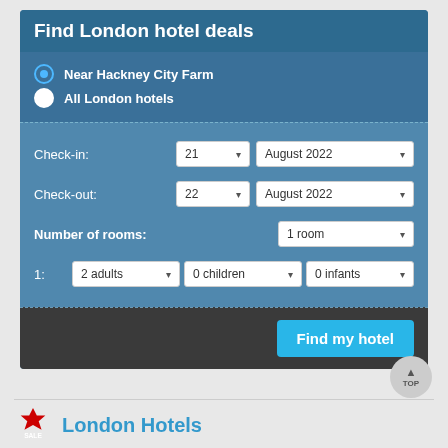Find London hotel deals
Near Hackney City Farm
All London hotels
Check-in: 21 ▾ August 2022 ▾
Check-out: 22 ▾ August 2022 ▾
Number of rooms: 1 room ▾
1: 2 adults ▾  0 children ▾  0 infants ▾
Find my hotel
London Hotels